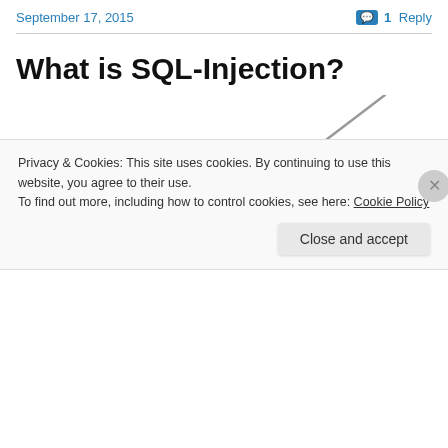September 17, 2015    1 Reply
What is SQL-Injection?
[Figure (photo): A medical syringe with a dark red/maroon liquid, needle pointing upper right, on white background, used as a metaphor for SQL injection.]
Privacy & Cookies: This site uses cookies. By continuing to use this website, you agree to their use.
To find out more, including how to control cookies, see here: Cookie Policy
Close and accept